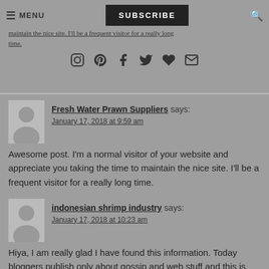MENU | SUBSCRIBE | (search icon) | social icons (Instagram, Pinterest, Facebook, Twitter, Heart, Email)
Fresh Water Prawn Suppliers says:
January 17, 2018 at 9:59 am
Awesome post. I'm a normal visitor of your website and appreciate you taking the time to maintain the nice site. I'll be a frequent visitor for a really long time.
indonesian shrimp industry says:
January 17, 2018 at 10:23 am
Hiya, I am really glad I have found this information. Today bloggers publish only about gossip and web stuff and this is actually irritating. A good website with interesting content, that is what I need. Thank you for making this site, and I'll be visiting again.